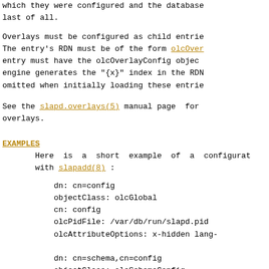which they were configured and the database last of all.
Overlays must be configured as child entries. The entry's RDN must be of the form olcOverlay=..., entry must have the olcOverlayConfig objectClass. The engine generates the "{x}" index in the RDN if omitted when initially loading these entries.
See the slapd.overlays(5) manual page for overlays.
EXAMPLES
Here is a short example of a configuration with slapadd(8) :
dn: cn=config
objectClass: olcGlobal
cn: config
olcPidFile: /var/db/run/slapd.pid
olcAttributeOptions: x-hidden lang-

dn: cn=schema,cn=config
objectClass: olcSchemaConfig
cn: schema

include: file:///usr/local/etc/openl